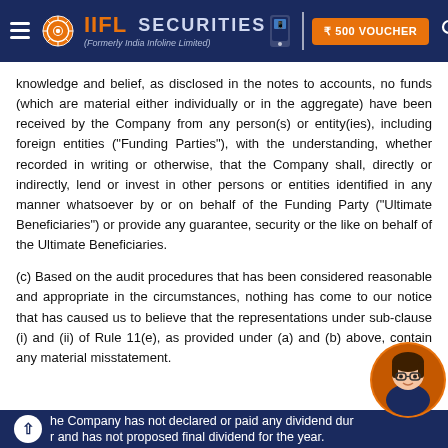IIFL Securities (Formerly India Infoline Limited)
knowledge and belief, as disclosed in the notes to accounts, no funds (which are material either individually or in the aggregate) have been received by the Company from any person(s) or entity(ies), including foreign entities ("Funding Parties"), with the understanding, whether recorded in writing or otherwise, that the Company shall, directly or indirectly, lend or invest in other persons or entities identified in any manner whatsoever by or on behalf of the Funding Party ("Ultimate Beneficiaries") or provide any guarantee, security or the like on behalf of the Ultimate Beneficiaries.
(c) Based on the audit procedures that has been considered reasonable and appropriate in the circumstances, nothing has come to our notice that has caused us to believe that the representations under sub-clause (i) and (ii) of Rule 11(e), as provided under (a) and (b) above, contain any material misstatement.
The Company has not declared or paid any dividend during the year and has not proposed final dividend for the year.